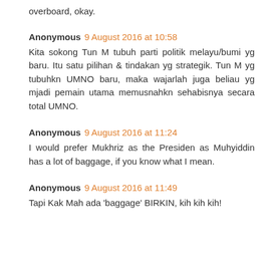overboard, okay.
Anonymous 9 August 2016 at 10:58
Kita sokong Tun M tubuh parti politik melayu/bumi yg baru. Itu satu pilihan & tindakan yg strategik. Tun M yg tubuhkn UMNO baru, maka wajarlah juga beliau yg mjadi pemain utama memusnahkn sehabisnya secara total UMNO.
Anonymous 9 August 2016 at 11:24
I would prefer Mukhriz as the Presiden as Muhyiddin has a lot of baggage, if you know what I mean.
Anonymous 9 August 2016 at 11:49
Tapi Kak Mah ada 'baggage' BIRKIN, kih kih kih!